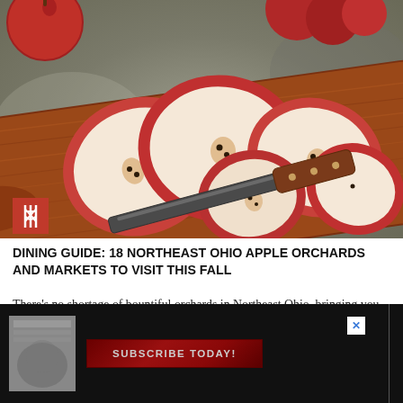[Figure (photo): Sliced apples on a wooden cutting board with a knife, photographed on a stone surface. A red badge with fork and knife icon appears in the bottom-left corner of the image.]
DINING GUIDE: 18 NORTHEAST OHIO APPLE ORCHARDS AND MARKETS TO VISIT THIS FALL
There's no shortage of bountiful orchards in Northeast Ohio, bringing you the freshest apples, baked goods, ciders and more this autumn.
[Figure (screenshot): Black advertisement bar with a small newspaper thumbnail image on the left, a red 'SUBSCRIBE TODAY!' button in the center, a close X button in the upper right, and a vertical line on the right side.]